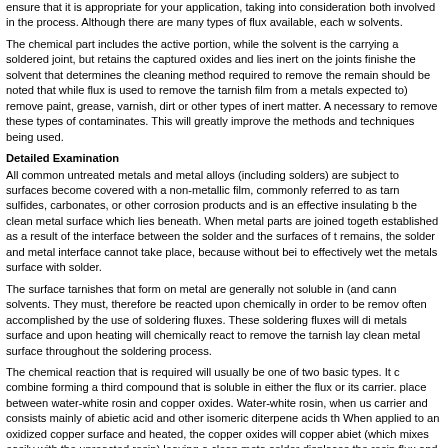ensure that it is appropriate for your application, taking into consideration both involved in the process. Although there are many types of flux available, each w solvents.
The chemical part includes the active portion, while the solvent is the carrying a soldered joint, but retains the captured oxides and lies inert on the joints finishe the solvent that determines the cleaning method required to remove the remain should be noted that while flux is used to remove the tarnish film from a metals expected to) remove paint, grease, varnish, dirt or other types of inert matter. A necessary to remove these types of contaminates. This will greatly improve the methods and techniques being used.
Detailed Examination
All common untreated metals and metal alloys (including solders) are subject to surfaces become covered with a non-metallic film, commonly referred to as tarn sulfides, carbonates, or other corrosion products and is an effective insulating b the clean metal surface which lies beneath. When metal parts are joined togeth established as a result of the interface between the solder and the surfaces of t remains, the solder and metal interface cannot take place, because without bei to effectively wet the metals surface with solder.
The surface tarnishes that form on metal are generally not soluble in (and cann solvents. They must, therefore be reacted upon chemically in order to be remov often accomplished by the use of soldering fluxes. These soldering fluxes will di metals surface and upon heating will chemically react to remove the tarnish lay clean metal surface throughout the soldering process.
The chemical reaction that is required will usually be one of two basic types. It c combine forming a third compound that is soluble in either the flux or its carrier. place between water-white rosin and copper oxides. Water-white rosin, when us carrier and consists mainly of abietic acid and other isomeric diterpene acids th When applied to an oxidized copper surface and heated, the copper oxides will copper abiet (which mixes easily with the unreacted rosin) leaving a clean meta solder displaces the rosin flux and the copper abiet, which can then be remove